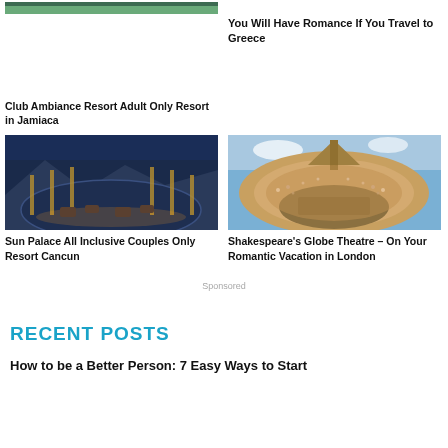[Figure (photo): Resort outdoor terrace with lounge chairs at twilight, mountain background]
You Will Have Romance If You Travel to Greece
[Figure (photo): Luxury resort rooftop lounge with circular design, evening lighting, ocean view]
[Figure (photo): Shakespeare's Globe Theatre interior, overhead fisheye view with audience]
Club Ambiance Resort Adult Only Resort in Jamiaca
Sun Palace All Inclusive Couples Only Resort Cancun
Shakespeare's Globe Theatre – On Your Romantic Vacation in London
Sponsored
RECENT POSTS
How to be a Better Person: 7 Easy Ways to Start